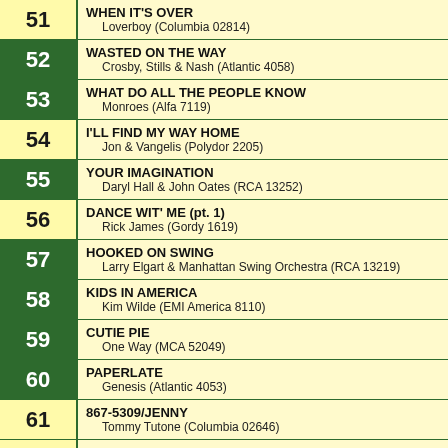| Rank | Song / Artist |
| --- | --- |
| 51 | WHEN IT'S OVER
Loverboy (Columbia 02814) |
| 52 | WASTED ON THE WAY
Crosby, Stills & Nash (Atlantic 4058) |
| 53 | WHAT DO ALL THE PEOPLE KNOW
Monroes (Alfa 7119) |
| 54 | I'LL FIND MY WAY HOME
Jon & Vangelis (Polydor 2205) |
| 55 | YOUR IMAGINATION
Daryl Hall & John Oates (RCA 13252) |
| 56 | DANCE WIT' ME (pt. 1)
Rick James (Gordy 1619) |
| 57 | HOOKED ON SWING
Larry Elgart & Manhattan Swing Orchestra (RCA 13219) |
| 58 | KIDS IN AMERICA
Kim Wilde (EMI America 8110) |
| 59 | CUTIE PIE
One Way (MCA 52049) |
| 60 | PAPERLATE
Genesis (Atlantic 4053) |
| 61 | 867-5309/JENNY
Tommy Tutone (Columbia 02646) |
| 62 | WITHOUT YOU (Not Another Lonely Night)
Franke & Knockouts (Millennium 13105) |
| 63 | I WANT CANDY
Bow Wow Wow (RCA 13204) |